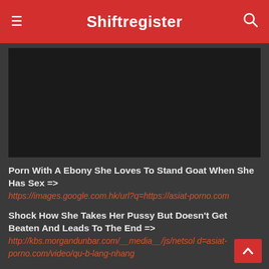Shiftregister
[Figure (other): Dark/black video player area]
Porn With A Ebony She Loves To Stand Goat When She Has Sex => https://images.google.com.hk/url?q=https://asiat-porno.com
Shock How She Takes Her Pussy But Doesn't Get Beaten And Leads To The End => http://kbs.morgandunbar.com/__media__/js/netsol d=asiat-porno.com/video/qu-b-lang-nhang